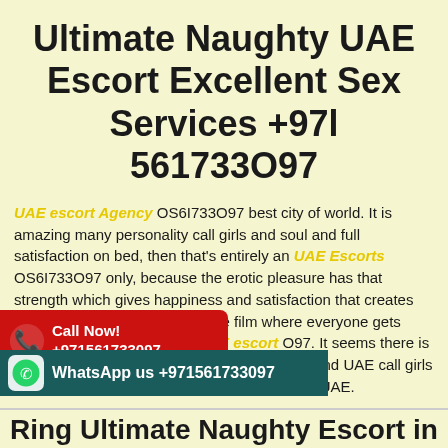Ultimate Naughty UAE Escort Excellent Sex Services +97l 561733O97
UAE escort Agency OS6I733O97 best city of world. It is amazing many personality call girls and soul and full satisfaction on bed, then that's entirely an UAE Escorts OS6I733O97 only, because the erotic pleasure has that strength which gives happiness and satisfaction that creates an UAE call girls. His city of the film where everyone gets busy to entertain the whole UAE escort O97. It seems there is no one to they are in touch with the romance and UAE call girls service. We understand the hungriness of the UAE.
[Figure (infographic): Red call banner with phone icon: Call Now! +971561733097]
[Figure (infographic): Dark teal WhatsApp bar: WhatsApp us +971561733097]
Ring Ultimate Naughty Escort in